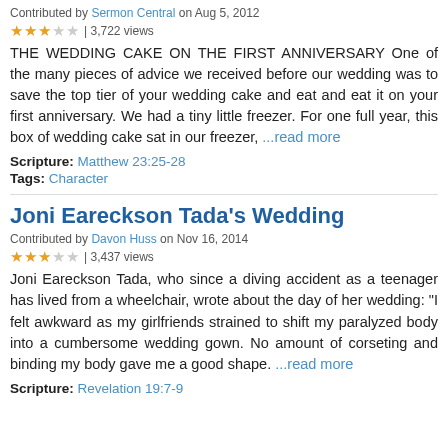Contributed by Sermon Central on Aug 5, 2012
★★★☆☆ | 3,722 views
THE WEDDING CAKE ON THE FIRST ANNIVERSARY One of the many pieces of advice we received before our wedding was to save the top tier of your wedding cake and eat and eat it on your first anniversary. We had a tiny little freezer. For one full year, this box of wedding cake sat in our freezer, ...read more
Scripture: Matthew 23:25-28
Tags: Character
Joni Eareckson Tada's Wedding
Contributed by Davon Huss on Nov 16, 2014
★★★☆☆ | 3,437 views
Joni Eareckson Tada, who since a diving accident as a teenager has lived from a wheelchair, wrote about the day of her wedding: "I felt awkward as my girlfriends strained to shift my paralyzed body into a cumbersome wedding gown. No amount of corseting and binding my body gave me a good shape. ...read more
Scripture: Revelation 19:7-9